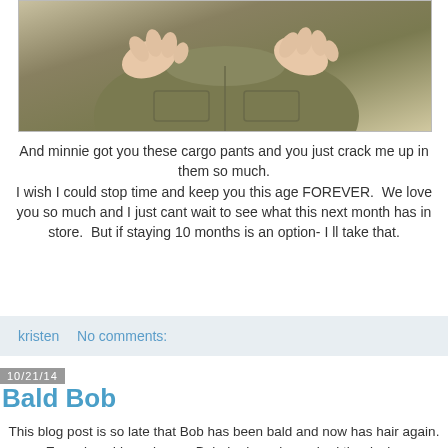[Figure (photo): Close-up photo of a baby/child wearing olive green cargo pants, hands visible on knees]
And minnie got you these cargo pants and you just crack me up in them so much.
I wish I could stop time and keep you this age FOREVER.  We love you so much and I just cant wait to see what this next month has in store.  But if staying 10 months is an option- I ll take that.
kristen    No comments:
10/21/14
Bald Bob
This blog post is so late that Bob has been bald and now has hair again.
Ever since I have known Bob, he has always had the desire...